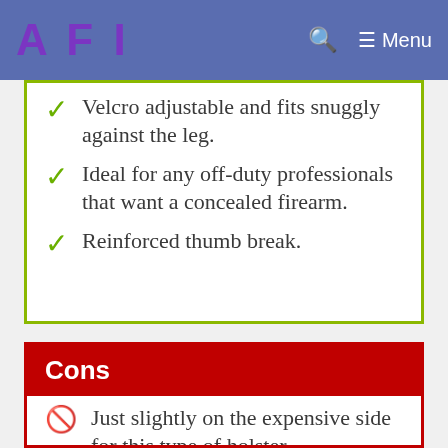AFI  [search] [Menu]
Velcro adjustable and fits snuggly against the leg.
Ideal for any off-duty professionals that want a concealed firearm.
Reinforced thumb break.
Cons
Just slightly on the expensive side for this type of holster.
Designed for right-handed shooters